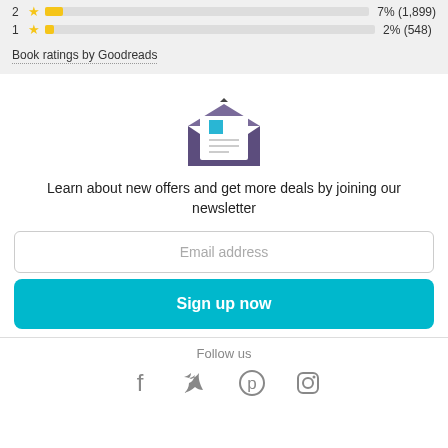[Figure (other): Rating bar rows showing 2-star 7% (1,899) and 1-star 2% (548) with yellow star icons and progress bars]
Book ratings by Goodreads
[Figure (illustration): Envelope icon with letter inside, purple envelope with white paper and blue square]
Learn about new offers and get more deals by joining our newsletter
Email address
Sign up now
Follow us
[Figure (other): Social media icons: Facebook, Twitter, Pinterest, Instagram]